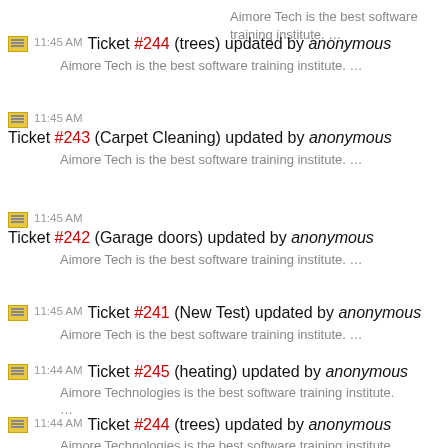Aimore Tech is the best software training institute. …
11:45 AM Ticket #244 (trees) updated by anonymous
Aimore Tech is the best software training institute. …
11:45 AM Ticket #243 (Carpet Cleaning) updated by anonymous
Aimore Tech is the best software training institute. …
11:45 AM Ticket #242 (Garage doors) updated by anonymous
Aimore Tech is the best software training institute. …
11:45 AM Ticket #241 (New Test) updated by anonymous
Aimore Tech is the best software training institute. …
11:44 AM Ticket #245 (heating) updated by anonymous
Aimore Technologies is the best software training institute. …
11:44 AM Ticket #244 (trees) updated by anonymous
Aimore Technologies is the best software training institute. …